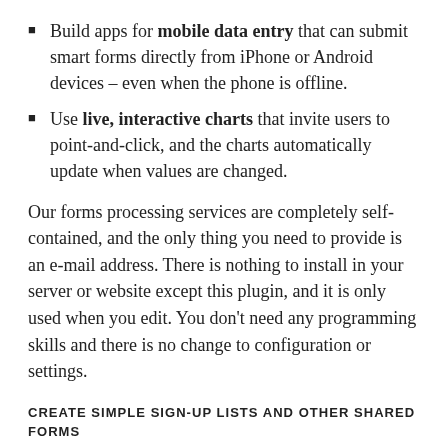Build apps for mobile data entry that can submit smart forms directly from iPhone or Android devices – even when the phone is offline.
Use live, interactive charts that invite users to point-and-click, and the charts automatically update when values are changed.
Our forms processing services are completely self-contained, and the only thing you need to provide is an e-mail address. There is nothing to install in your server or website except this plugin, and it is only used when you edit. You don't need any programming skills and there is no change to configuration or settings.
CREATE SIMPLE SIGN-UP LISTS AND OTHER SHARED FORMS
Want to bring people together for a football game, a